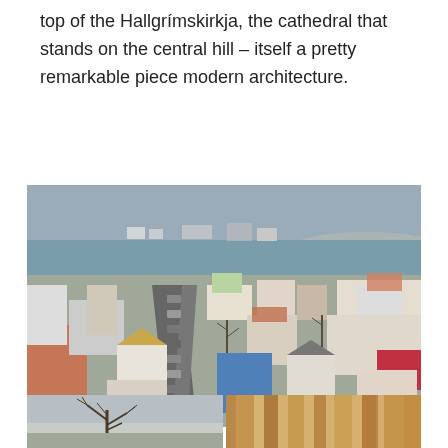top of the Hallgrímskirkja, the cathedral that stands on the central hill – itself a pretty remarkable piece modern architecture.
[Figure (photo): Aerial view of Reykjavik city from the top of Hallgrímskirkja, showing colorful rooftops, streets, harbor, and sea in the background.]
View from the Hallgrímskirkja
[Figure (photo): Bare winter tree branches against a grey sky.]
[Figure (photo): Interior architectural detail of Hallgrímskirkja showing golden arched ceiling columns.]